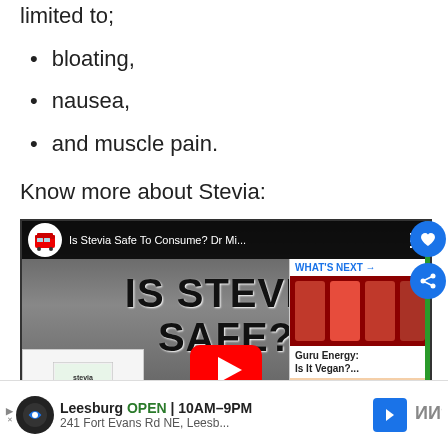limited to;
bloating,
nausea,
and muscle pain.
Know more about Stevia:
[Figure (screenshot): YouTube video thumbnail titled 'Is Stevia Safe To Consume? Dr Mi...' with large text 'IS STEVIA SAFE?' overlaid on a grey background, a stevia product box in bottom left, YouTube play button in center, and a 'WHAT'S NEXT' panel showing 'Guru Energy: Is It Vegan?...' on the right. Social sharing and bookmark buttons visible. Below is an advertisement bar for a Leesburg store: OPEN 10AM-9PM, 241 Fort Evans Rd NE, Leesb...]